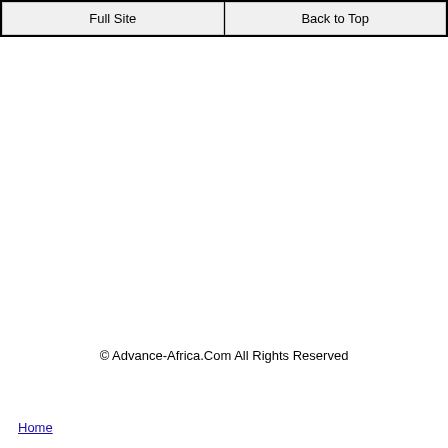Full Site | Back to Top
© Advance-Africa.Com All Rights Reserved
Home